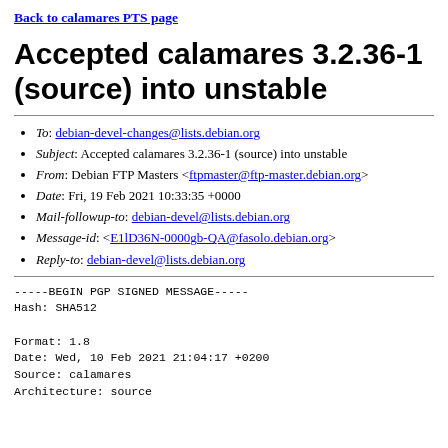Back to calamares PTS page
Accepted calamares 3.2.36-1 (source) into unstable
To: debian-devel-changes@lists.debian.org
Subject: Accepted calamares 3.2.36-1 (source) into unstable
From: Debian FTP Masters <ftpmaster@ftp-master.debian.org>
Date: Fri, 19 Feb 2021 10:33:35 +0000
Mail-followup-to: debian-devel@lists.debian.org
Message-id: <E1lD36N-0000gb-QA@fasolo.debian.org>
Reply-to: debian-devel@lists.debian.org
-----BEGIN PGP SIGNED MESSAGE-----
Hash: SHA512

Format: 1.8
Date: Wed, 10 Feb 2021 21:04:17 +0200
Source: calamares
Architecture: source